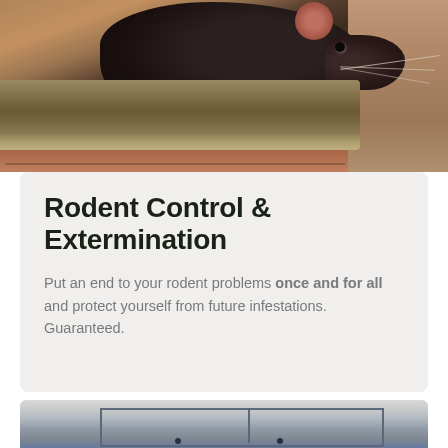[Figure (photo): Close-up photo of a dark brown/black rat resting on a weathered wooden plank against a warm reddish-brown background]
Rodent Control & Extermination
Put an end to your rodent problems once and for all and protect yourself from future infestations. Guaranteed.
[Figure (photo): Partial photo of a ceiling or interior space with structural elements visible, partially cropped at the bottom of the page]